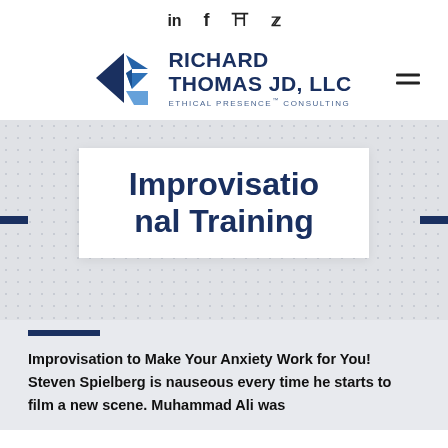in f b (bird icon)
[Figure (logo): Richard Thomas JD, LLC logo with geometric triangles in blue shades and tagline ETHICAL PRESENCE CONSULTING]
Improvisational Training
Improvisation to Make Your Anxiety Work for You! Steven Spielberg is nauseous every time he starts to film a new scene. Muhammad Ali was